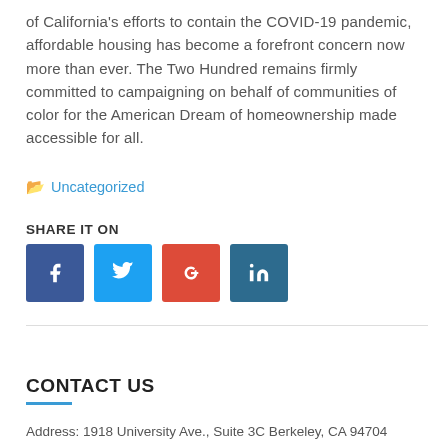of California's efforts to contain the COVID-19 pandemic, affordable housing has become a forefront concern now more than ever.  The Two Hundred remains firmly committed to campaigning on behalf of communities of color for the American Dream of homeownership made accessible for all.
Uncategorized
SHARE IT ON
[Figure (other): Social share buttons: Facebook, Twitter, Google+, LinkedIn]
CONTACT US
Address: 1918 University Ave., Suite 3C Berkeley, CA 94704